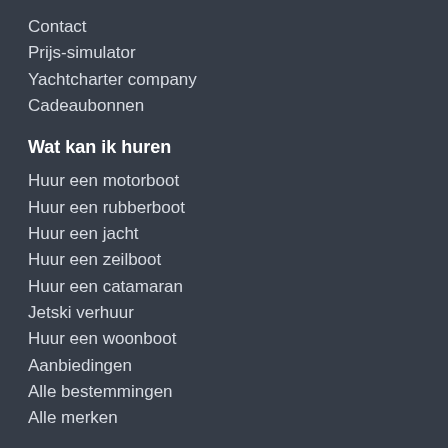Contact
Prijs-simulator
Yachtcharter company
Cadeaubonnen
Wat kan ik huren
Huur een motorboot
Huur een rubberboot
Huur een jacht
Huur een zeilboot
Huur een catamaran
Jetski verhuur
Huur een woonboot
Aanbiedingen
Alle bestemmingen
Alle merken
Waar kan ik een boot huren
Marseille